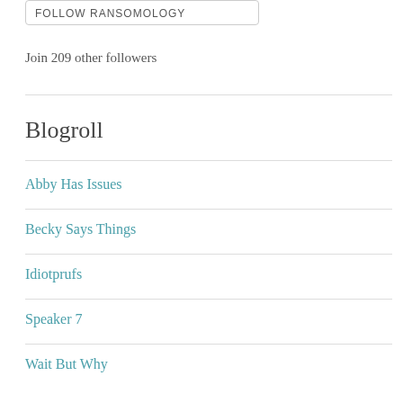FOLLOW RANSOMOLOGY
Join 209 other followers
Blogroll
Abby Has Issues
Becky Says Things
Idiotprufs
Speaker 7
Wait But Why